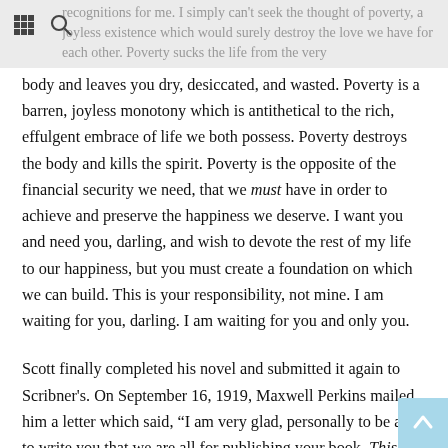recognitions for me. I simply can't seek the thought of poverty, a joyless existence which would surely destroy the love we have for each other. Poverty sucks the life from the very...
body and leaves you dry, desiccated, and wasted. Poverty is a barren, joyless monotony which is antithetical to the rich, effulgent embrace of life we both possess. Poverty destroys the body and kills the spirit. Poverty is the opposite of the financial security we need, that we must have in order to achieve and preserve the happiness we deserve. I want you and need you, darling, and wish to devote the rest of my life to our happiness, but you must create a foundation on which we can build. This is your responsibility, not mine. I am waiting for you, darling. I am waiting for you and only you.
Scott finally completed his novel and submitted it again to Scribner's. On September 16, 1919, Maxwell Perkins mailed him a letter which said, "I am very glad, personally to be able to write you that we are all for publishing your book, This Side of Paradise . . . The book is so different that it is hard to prophesy how it will sell, but we are all for taking a chance and supporting it with vigor."
The floodgates suddenly opened and a tidal wave of success washed